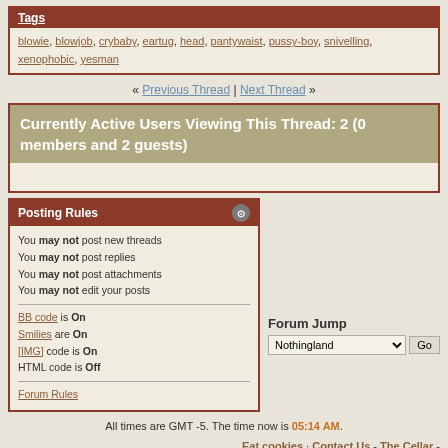Tags
blowie, blowjob, crybaby, eartug, head, pantywaist, pussy-boy, snivelling, xenophobic, yesman
« Previous Thread | Next Thread »
Currently Active Users Viewing This Thread: 2 (0 members and 2 guests)
Posting Rules
You may not post new threads
You may not post replies
You may not post attachments
You may not edit your posts
BB code is On
Smilies are On
[IMG] code is On
HTML code is Off
Forum Rules
Forum Jump
All times are GMT -5. The time now is 05:14 AM.
Eat cookies · Contact Us - The Cellar - Archive - Top
Powered by: vBulletin Version 3.8.1
Copyright ©2000 - 2022, Jelsoft Enterprises Ltd.